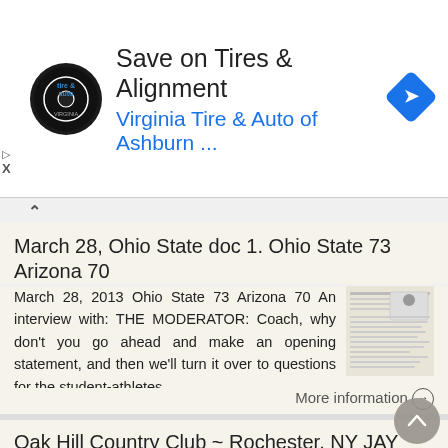[Figure (logo): Virginia Tire & Auto advertisement banner with logo, title 'Save on Tires & Alignment', subtitle 'Virginia Tire & Auto of Ashburn ...', navigation arrow icon, and ad badge]
March 28, Ohio State doc 1. Ohio State 73 Arizona 70
March 28, 2013 Ohio State 73 Arizona 70 An interview with: THE MODERATOR: Coach, why don't you go ahead and make an opening statement, and then we'll turn it over to questions for the student-athletes.
More information →
Oak Hill Country Club ~ Rochester, NY JAY HAAS
Oak Hill Country Club ~ Rochester, NY Hole # 1 2 3 4 5 6 7 8 9 Out 10 11 12 13 14 15